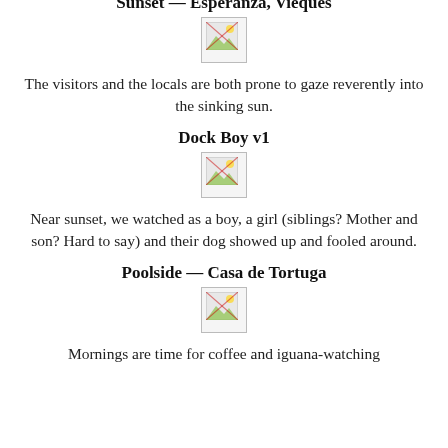Near sunset, we watched as a boy, a girl (siblings? Mother and son? Hard to say) and their dog showed up and fooled around.
Sunset — Esperanza, Vieques
[Figure (photo): Broken/missing image placeholder]
The visitors and the locals are both prone to gaze reverently into the sinking sun.
Dock Boy v1
[Figure (photo): Broken/missing image placeholder]
Near sunset, we watched as a boy, a girl (siblings? Mother and son? Hard to say) and their dog showed up and fooled around.
Poolside — Casa de Tortuga
[Figure (photo): Broken/missing image placeholder]
Mornings are time for coffee and iguana-watching